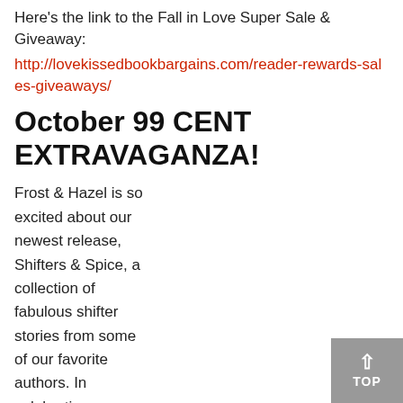Here's the link to the Fall in Love Super Sale & Giveaway:
http://lovekissedbookbargains.com/reader-rewards-sales-giveaways/
October 99 CENT EXTRAVAGANZA!
Frost & Hazel is so excited about our newest release, Shifters & Spice, a collection of fabulous shifter stories from some of our favorite authors. In celebration, a group of amazing authors decided to have a ginormous sa... you will see some amazing reads, all offered for $.99. Be s...